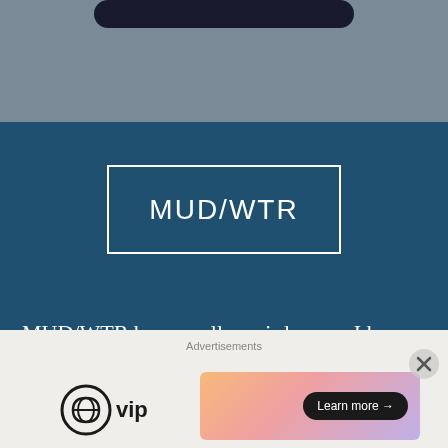[Figure (screenshot): Top gray section with a dark rounded pill/bar at the top center, representing a mobile UI element]
MUD/WTR
MUD/WTR has a really weird name. I know. And yet, I enjoy it immensely. What is it
[Figure (other): Advertisement bar with WordPress VIP logo on the left and a colorful gradient banner ad with a Learn more button on the right. An X close button is shown at top right of the ad area.]